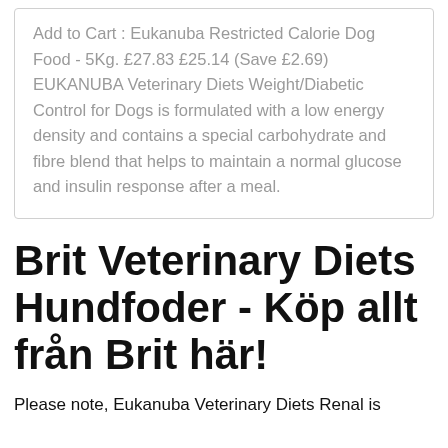Add to Cart : Eukanuba Restricted Calorie Dog Food - 5Kg. £27.83 £25.14 (Save £2.69) EUKANUBA Veterinary Diets Weight/Diabetic Control for Dogs is formulated with a low energy density and contains a special carbohydrate and fibre blend that helps to maintain a normal glucose and insulin response after a meal.
Brit Veterinary Diets Hundfoder - Köp allt från Brit här!
Please note, Eukanuba Veterinary Diets Renal is